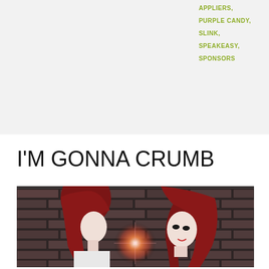APPLIERS,
PURPLE CANDY,
SLINK,
SPEAKEASY,
SPONSORS
COMMENTS
1 COMMENT
I'M GONNA CRUMB
[Figure (photo): Two female avatar characters with dark red hair against a brick wall background, with a bright light flare in the center. Left figure faces away, right figure faces forward with dramatic makeup.]